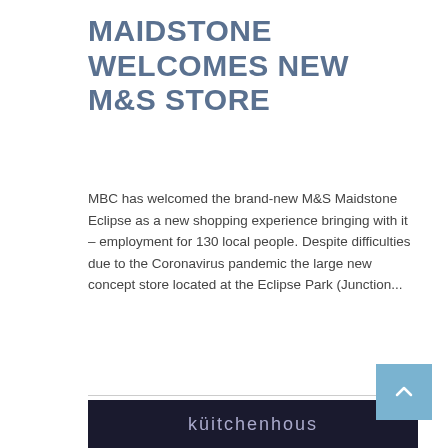MAIDSTONE WELCOMES NEW M&S STORE
MBC has welcomed the brand-new M&S Maidstone Eclipse as a new shopping experience bringing with it – employment for 130 local people. Despite difficulties due to the Coronavirus pandemic the large new concept store located at the Eclipse Park (Junction...
[Figure (other): Dark banner image showing partial text 'küitchenhous' or similar brand name in light/white text on dark background]